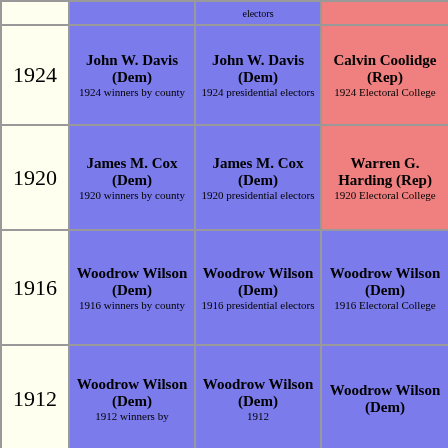| Year | Winners by County | Presidential Electors | Electoral College |
| --- | --- | --- | --- |
| 1924 | John W. Davis (Dem)
1924 winners by county | John W. Davis (Dem)
1924 presidential electors | Calvin Coolidge (Rep)
1924 Electoral College |
| 1920 | James M. Cox (Dem)
1920 winners by county | James M. Cox (Dem)
1920 presidential electors | Warren G. Harding (Rep)
1920 Electoral College |
| 1916 | Woodrow Wilson (Dem)
1916 winners by county | Woodrow Wilson (Dem)
1916 presidential electors | Woodrow Wilson (Dem)
1916 Electoral College |
| 1912 | Woodrow Wilson (Dem)
1912 winners by | Woodrow Wilson (Dem)
1912 | Woodrow Wilson (Dem) |